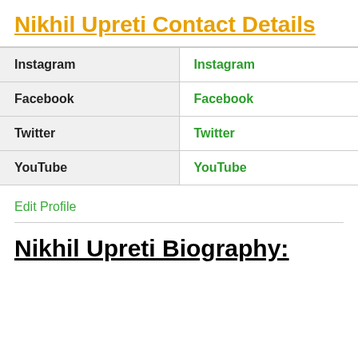Nikhil Upreti Contact Details
|  |  |
| --- | --- |
| Instagram | Instagram |
| Facebook | Facebook |
| Twitter | Twitter |
| YouTube | YouTube |
Edit Profile
Nikhil Upreti Biography: